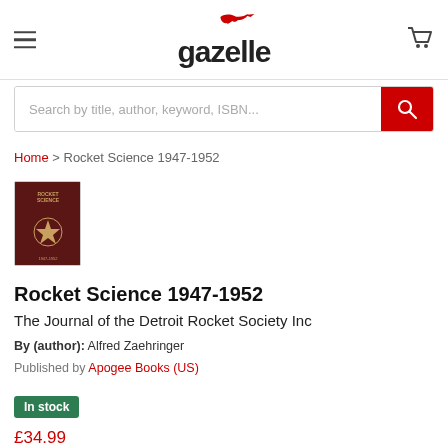gazelle
Search by title, author, keyword, ISBN...
Home > Rocket Science 1947-1952
[Figure (photo): Thumbnail of book cover for Rocket Science 1947-1952, dark red cover with gold emblem]
Rocket Science 1947-1952
The Journal of the Detroit Rocket Society Inc
By (author): Alfred Zaehringer
Published by Apogee Books (US)
In stock
£34.99